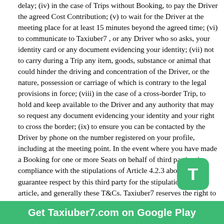delay; (iv) in the case of Trips without Booking, to pay the Driver the agreed Cost Contribution; (v) to wait for the Driver at the meeting place for at least 15 minutes beyond the agreed time; (vi) to communicate to Taxiuber7 , or any Driver who so asks, your identity card or any document evidencing your identity; (vii) not to carry during a Trip any item, goods, substance or animal that could hinder the driving and concentration of the Driver, or the nature, possession or carriage of which is contrary to the legal provisions in force; (viii) in the case of a cross-border Trip, to hold and keep available to the Driver and any authority that may so request any document evidencing your identity and your right to cross the border; (ix) to ensure you can be contacted by the Driver by phone on the number registered on your profile, including at the meeting point. In the event where you have made a Booking for one or more Seats on behalf of third parties, in compliance with the stipulations of Article 4.2.3 above, you guarantee respect by this third party for the stipulations of this article, and generally these T&Cs. Taxiuber7 reserves the right to suspend your Account, limit your access to the Services, or terminate these T&Cs, in the case of breach by the third party on whose behalf you have booked a Seat under these T&Cs.

You can terminate your contractual relations with Taxiuber7 at any time, without cost and without reason. To do this, simply go to the